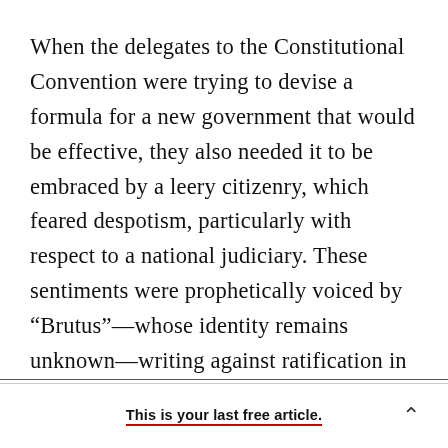When the delegates to the Constitutional Convention were trying to devise a formula for a new government that would be effective, they also needed it to be embraced by a leery citizenry, which feared despotism, particularly with respect to a national judiciary. These sentiments were prophetically voiced by “Brutus”—whose identity remains unknown—writing against ratification in New York. Courts of law, he warned, “will give the sense of every article of the constitution that may from time to time come before them. And in their [decisions they will not confine themselves to]
This is your last free article.